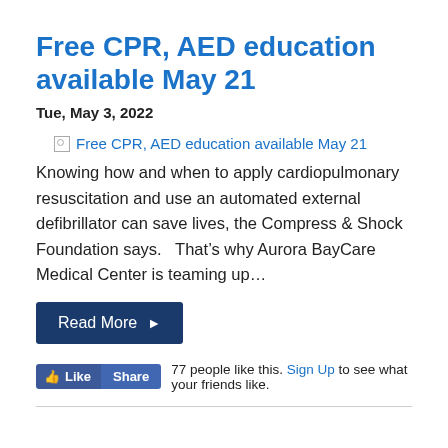Free CPR, AED education available May 21
Tue, May 3, 2022
[Figure (photo): Broken image placeholder with alt text: Free CPR, AED education available May 21]
Knowing how and when to apply cardiopulmonary resuscitation and use an automated external defibrillator can save lives, the Compress & Shock Foundation says.   That’s why Aurora BayCare Medical Center is teaming up…
Read More ►
77 people like this. Sign Up to see what your friends like.